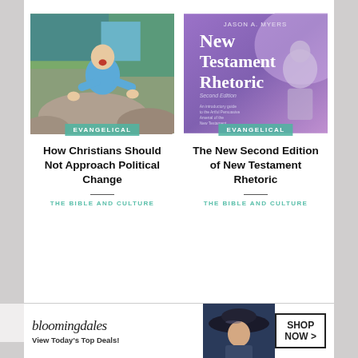[Figure (photo): Young man in blue shirt climbing on rocks outdoors, with green EVANGELICAL label overlay at bottom]
How Christians Should Not Approach Political Change
THE BIBLE AND CULTURE
[Figure (photo): Book cover 'New Testament Rhetoric Second Edition' by Jason A. Myers, purple/blue gradient with statue image, with green EVANGELICAL label overlay at bottom]
The New Second Edition of New Testament Rhetoric
THE BIBLE AND CULTURE
[Figure (photo): Bloomingdale's advertisement banner: 'View Today's Top Deals!' with woman in hat and SHOP NOW button]